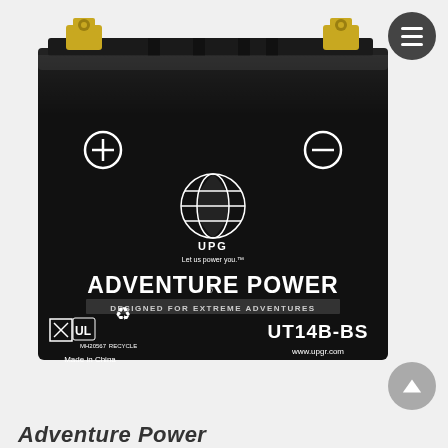[Figure (photo): UPG Adventure Power motorcycle/powersport battery model UT14B-BS. Black rectangular battery with gold terminals on top, positive (+) and negative (-) symbols on the front face. UPG globe logo in center with text 'Let us power you.™'. Large text reads 'ADVENTURE POWER®' with subtitle 'DESIGNED FOR EXTREME ADVENTURES'. Bottom left shows regulatory symbols including MH20567 and Made in China. Bottom right shows model number UT14B-BS and www.upgr.com.]
Adventure Power